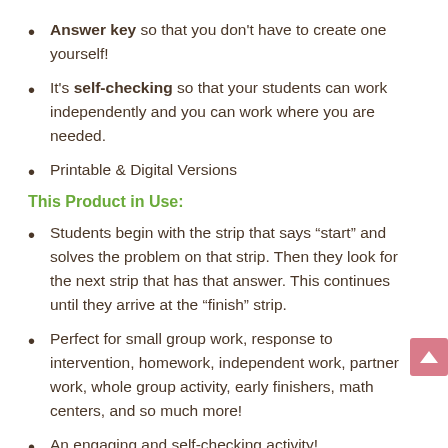Answer key so that you don't have to create one yourself!
It's self-checking so that your students can work independently and you can work where you are needed.
Printable & Digital Versions
This Product in Use:
Students begin with the strip that says “start” and solves the problem on that strip. Then they look for the next strip that has that answer. This continues until they arrive at the “finish” strip.
Perfect for small group work, response to intervention, homework, independent work, partner work, whole group activity, early finishers, math centers, and so much more!
An engaging and self-checking activity!